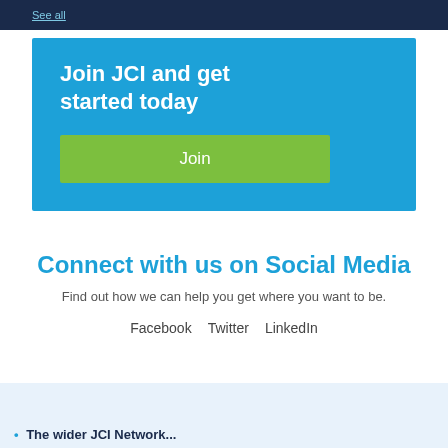See all
Join JCI and get started today
Join
Connect with us on Social Media
Find out how we can help you get where you want to be.
Facebook  Twitter  LinkedIn
The wider JCI Network...